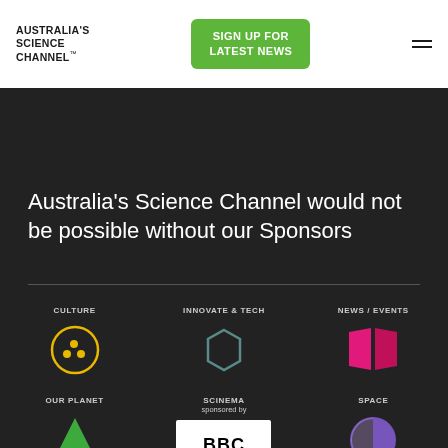AUSTRALIA'S SCIENCE CHANNEL™
SIGN UP FOR LATEST NEWS
Australia's Science Channel would not be possible without our Sponsors
CULTURE
[Figure (logo): Yellow circle with three dots inside (bowling ball icon)]
INNOVATE & TECH
[Figure (logo): Teal/grey hexagon outline icon]
NEWS / EVENTS
[Figure (logo): Pink/magenta open book icon]
OUR PLANET
[Figure (logo): Green triangles stacked (three triangles) icon]
SCINEMA
sponsored by
[Figure (logo): BBC earth logo on white background]
SPACE
[Figure (logo): Purple half-circle / half-filled circle icon]
THE BODY
THOUGHT LEADERS
ULTIMATE CAREERS